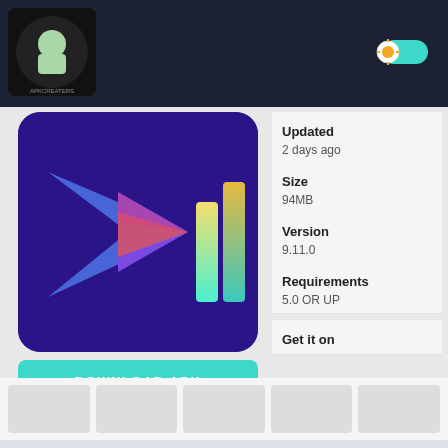[Figure (screenshot): APK Creaters website screenshot showing app download page header with dark navy background, circular logo on left, and sun/toggle icon on right]
[Figure (logo): App icon: dark purple/blue background with geometric shapes forming a stylized video editor symbol and colorful vertical bars]
DOWNLOAD APK
★★★★☆ 4.4/5
Votes: 1,592,183
Report
Updated
2 days ago
Size
94MB
Version
9.11.0
Requirements
5.0 OR UP
Get it on
[Figure (screenshot): Five thumbnail placeholder boxes in a horizontal strip at the bottom of the page]